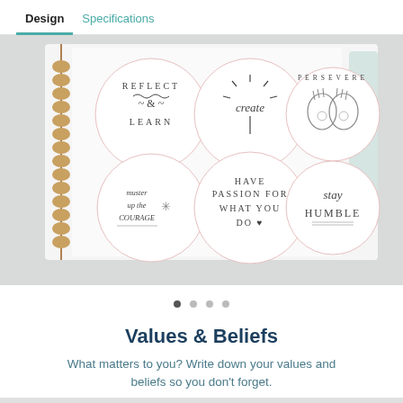Design | Specifications
[Figure (photo): Open spiral-bound notebook with six circular sticker designs showing motivational phrases: REFLECT & LEARN, create, PERSEVERE (with hands), muster up the courage, HAVE PASSION FOR WHAT YOU DO, stay HUMBLE. Notebook sits on a light gray background.]
Values & Beliefs
What matters to you? Write down your values and beliefs so you don't forget.